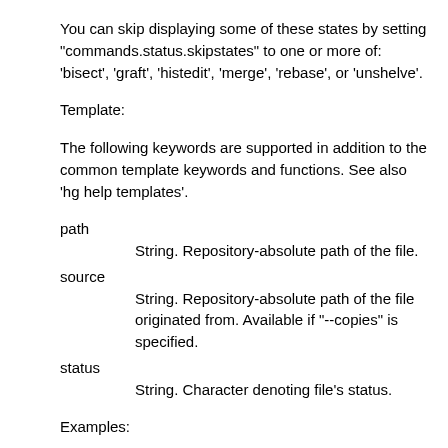You can skip displaying some of these states by setting "commands.status.skipstates" to one or more of: 'bisect', 'graft', 'histedit', 'merge', 'rebase', or 'unshelve'.
Template:
The following keywords are supported in addition to the common template keywords and functions. See also 'hg help templates'.
path
String. Repository-absolute path of the file.
source
String. Repository-absolute path of the file originated from. Available if "--copies" is specified.
status
String. Character denoting file's status.
Examples: